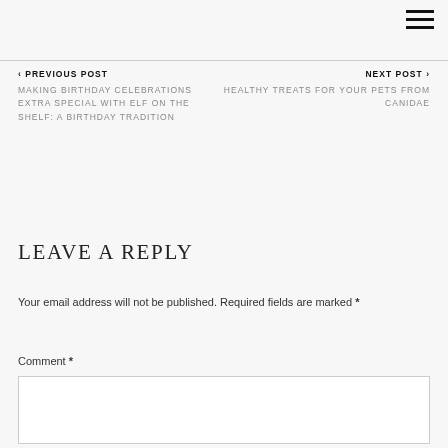≡
‹ PREVIOUS POST
MAKING BIRTHDAY CELEBRATIONS EXTRA SPECIAL WITH ELF ON THE SHELF: A BIRTHDAY TRADITION
NEXT POST ›
HEALTHY TREATS FOR YOUR PETS FROM CANIDAE
LEAVE A REPLY
Your email address will not be published. Required fields are marked *
Comment *